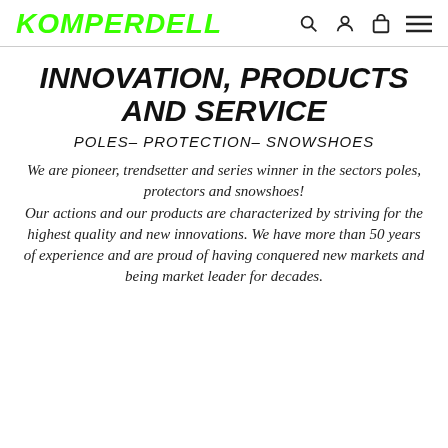KOMPERDELL
INNOVATION, PRODUCTS AND SERVICE
POLES– PROTECTION– SNOWSHOES
We are pioneer, trendsetter and series winner in the sectors poles, protectors and snowshoes! Our actions and our products are characterized by striving for the highest quality and new innovations. We have more than 50 years of experience and are proud of having conquered new markets and being market leader for decades.